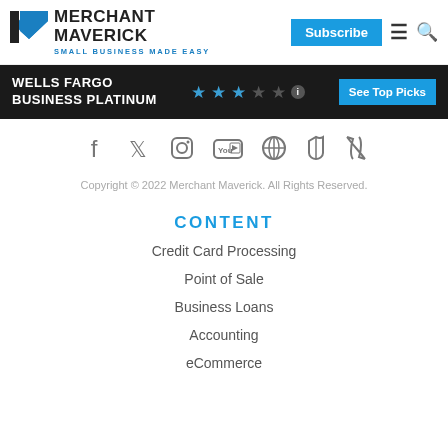MERCHANT MAVERICK — SMALL BUSINESS MADE EASY
WELLS FARGO BUSINESS PLATINUM ★★★☆☆ — See Top Picks
[Figure (infographic): Social media icons row: Facebook, Twitter, Instagram, YouTube, Pinterest, TikTok, RSS]
Copyright © 2022 Merchant Maverick. All Rights Reserved.
CONTENT
Credit Card Processing
Point of Sale
Business Loans
Accounting
eCommerce